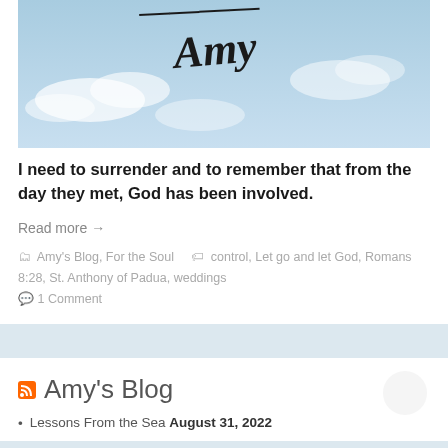[Figure (photo): Book or movie cover image with 'Amy' written in handwriting style text on a blue sky background with clouds]
I need to surrender and to remember that from the day they met, God has been involved.
Read more →
Amy's Blog, For the Soul   control, Let go and let God, Romans 8:28, St. Anthony of Padua, weddings
1 Comment
Amy's Blog
Lessons From the Sea August 31, 2022